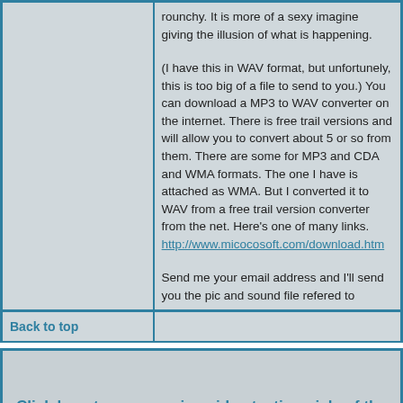rounchy. It is more of a sexy imagine giving the illusion of what is happening.
(I have this in WAV format, but unfortunely, this is too big of a file to send to you.) You can download a MP3 to WAV converter on the internet. There is free trail versions and will allow you to convert about 5 or so from them. There are some for MP3 and CDA and WMA formats. The one I have is attached as WMA. But I converted it to WAV from a free trail version converter from the net. Here's one of many links. http://www.micocosoft.com/download.htm
Send me your email address and I'll send you the pic and sound file refered to
Back to top
Click here to see amazing video testimonials of the